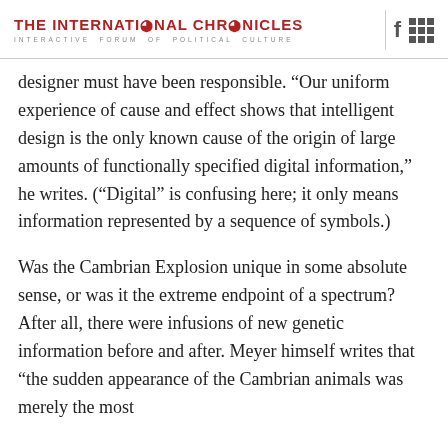THE INTERNATIONAL CHRONICLES | INTERACTIVE FORUM OF POLITICAL CULTURE
designer must have been responsible. “Our uniform experience of cause and effect shows that intelligent design is the only known cause of the origin of large amounts of functionally specified digital information,” he writes. (“Digital” is confusing here; it only means information represented by a sequence of symbols.)
Was the Cambrian Explosion unique in some absolute sense, or was it the extreme endpoint of a spectrum? After all, there were infusions of new genetic information before and after. Meyer himself writes that “the sudden appearance of the Cambrian animals was merely the most